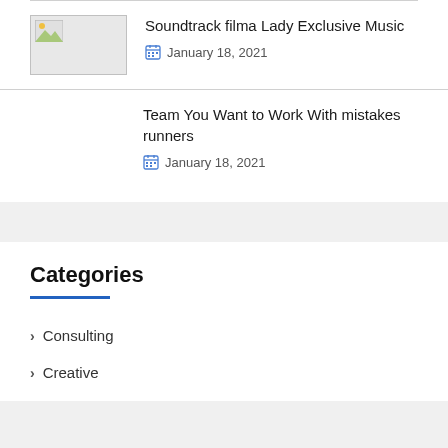[Figure (photo): Thumbnail image placeholder for blog post]
Soundtrack filma Lady Exclusive Music
January 18, 2021
Team You Want to Work With mistakes runners
January 18, 2021
Categories
Consulting
Creative